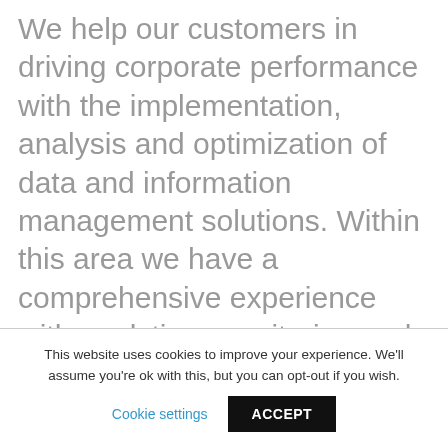We help our customers in driving corporate performance with the implementation, analysis and optimization of data and information management solutions. Within this area we have a comprehensive experience with analytics, monitoring and performance management solutions – including Real Time Data and Real Time Analytics.
This website uses cookies to improve your experience. We'll assume you're ok with this, but you can opt-out if you wish.
Cookie settings   ACCEPT